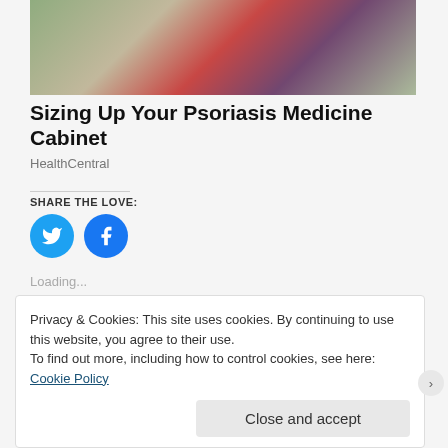[Figure (photo): Person in a plaid shirt browsing in a pharmacy or store aisle]
Sizing Up Your Psoriasis Medicine Cabinet
HealthCentral
SHARE THE LOVE:
[Figure (infographic): Twitter and Facebook share buttons (circular blue icons)]
Loading...
Privacy & Cookies: This site uses cookies. By continuing to use this website, you agree to their use.
To find out more, including how to control cookies, see here: Cookie Policy
Close and accept